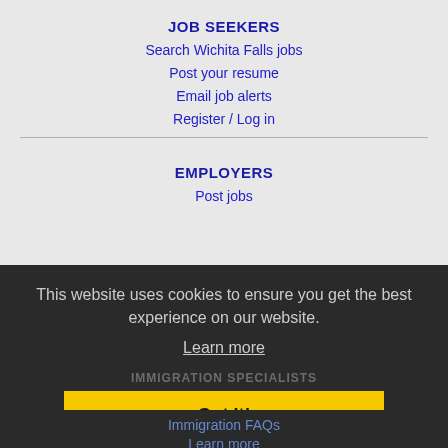JOB SEEKERS
Search Wichita Falls jobs
Post your resume
Email job alerts
Register / Log in
EMPLOYERS
Post jobs
Search resumes
Email resume alerts
Advertise
This website uses cookies to ensure you get the best experience on our website.
Learn more
IMMIGRATION SPECIALISTS
Post jobs
Immigration FAQs
Learn more